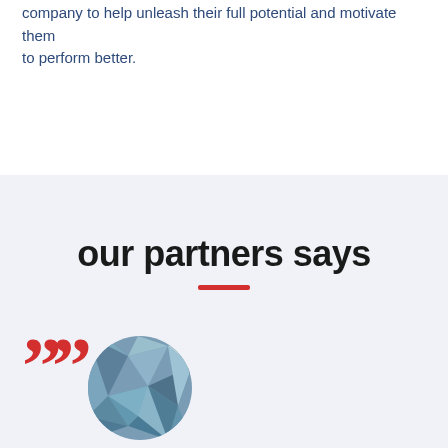company to help unleash their full potential and motivate them to perform better.
our partners says
[Figure (illustration): Red quotation mark symbol and circular avatar image with blue-grey polygonal/geometric texture pattern]